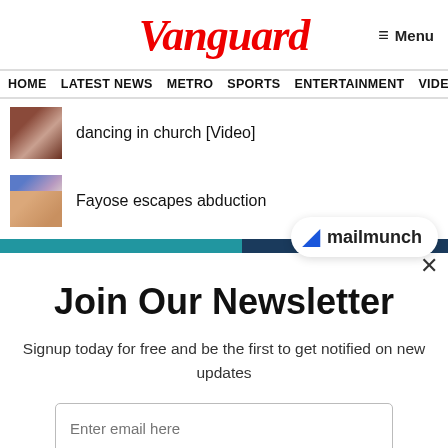Vanguard
≡ Menu
HOME  LATEST NEWS  METRO  SPORTS  ENTERTAINMENT  VIDEOS
dancing in church [Video]
Fayose escapes abduction
[Figure (screenshot): mailmunch badge/popup overlay with blue M logo and progress bar]
Join Our Newsletter
Signup today for free and be the first to get notified on new updates
Enter email here